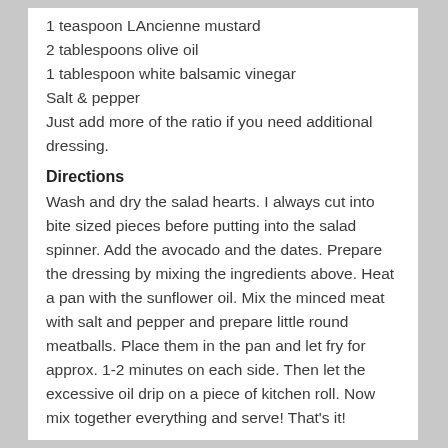1 teaspoon LAncienne mustard
2 tablespoons olive oil
1 tablespoon white balsamic vinegar
Salt & pepper
Just add more of the ratio if you need additional dressing.
Directions
Wash and dry the salad hearts. I always cut into bite sized pieces before putting into the salad spinner. Add the avocado and the dates. Prepare the dressing by mixing the ingredients above. Heat a pan with the sunflower oil. Mix the minced meat with salt and pepper and prepare little round meatballs. Place them in the pan and let fry for approx. 1-2 minutes on each side. Then let the excessive oil drip on a piece of kitchen roll. Now mix together everything and serve! That's it!